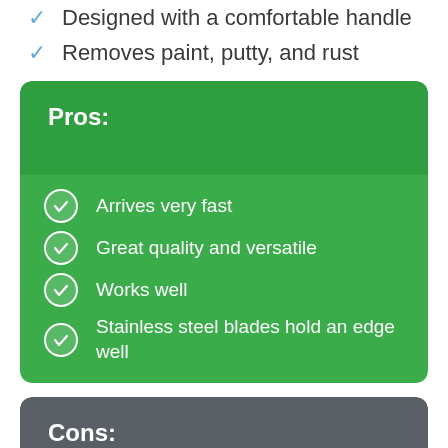Designed with a comfortable handle
Removes paint, putty, and rust
Pros:
Arrives very fast
Great quality and versatile
Works well
Stainless steel blades hold an edge well
Cons: